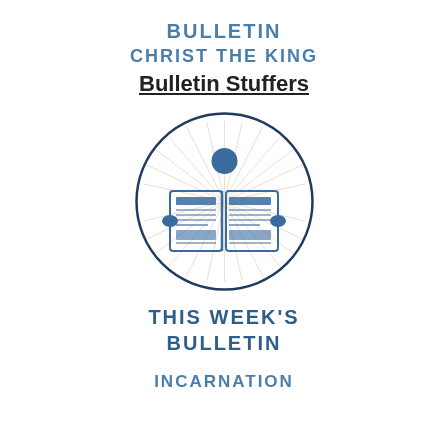BULLETIN
CHRIST THE KING
Bulletin Stuffers
[Figure (illustration): Person reading a newspaper, shown as a simple icon inside a circle with radiating lines]
THIS WEEK'S BULLETIN
INCARNATION